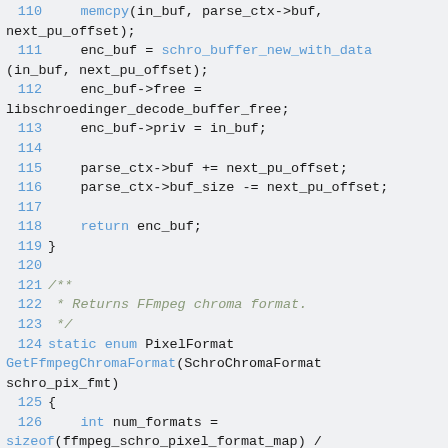Source code listing lines 110-127 showing C/C++ code for a media codec library (libschroedinger FFmpeg integration). Contains function body with memcpy, buffer allocation, and GetFfmpegChromaFormat function declaration.